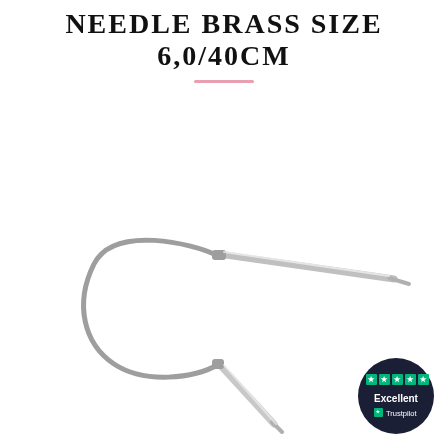NEEDLE BRASS SIZE 6,0/40CM
[Figure (photo): Circular knitting needle with silver/brass metal shafts and a grey flexible cable connector, shown on white background. The needle forms a loop with the cable.]
[Figure (logo): Trustpilot badge — dark navy circle with 5 green stars and text 'Excellent' and 'Trustpilot']